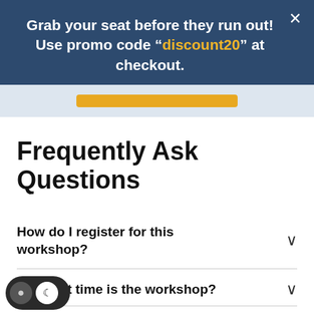Grab your seat before they run out! Use promo code “discount20” at checkout.
[Figure (screenshot): Yellow register button partially visible in a light blue-grey bar]
Frequently Ask Questions
How do I register for this workshop?
What time is the workshop?
[Figure (other): Dark mode toggle widget in bottom left corner]